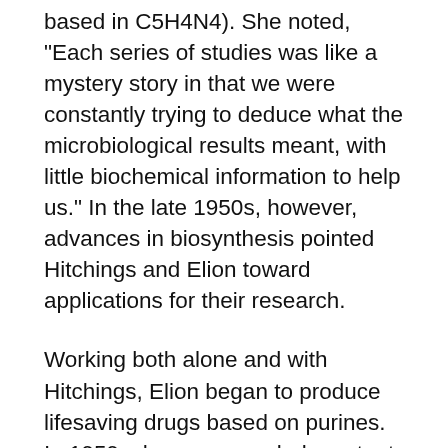based in C5H4N4). She noted, "Each series of studies was like a mystery story in that we were constantly trying to deduce what the microbiological results meant, with little biochemical information to help us." In the late 1950s, however, advances in biosynthesis pointed Hitchings and Elion toward applications for their research.
Working both alone and with Hitchings, Elion began to produce lifesaving drugs based on purines. In 1959, she was awarded a patent for 2-Amino-6-Mercaptopurine, or "Purinethol," the first major medicine to fight leukemia. In 1962, Elion was granted a patent for "Imuran," which helps the body suppress its immune reaction to foreign tissue – most importantly, that of transplanted